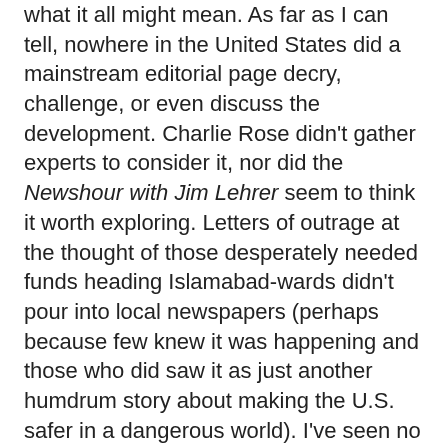what it all might mean. As far as I can tell, nowhere in the United States did a mainstream editorial page decry, challenge, or even discuss the development. Charlie Rose didn't gather experts to consider it, nor did the Newshour with Jim Lehrer seem to think it worth exploring. Letters of outrage at the thought of those desperately needed funds heading Islamabad-wards didn't pour into local newspapers (perhaps because few knew it was happening and those who did saw it as just another humdrum story about making the U.S. safer in a dangerous world). I've seen no obvious congressional attempts to oppose the passage of the money. The general attitude is evidently: Been there, done that (in Iraq, as a matter of fact, in the Bush years).
Maybe in a world where near-trillion-dollar bailouts are the norm, a mere three-quarters of a billion for a fortress of an embassy seems like so much chump change, the sort of news that only Democracy Now! would even consider significant. Fortunately, Chalmers Johnson, author of The Blowback Trilogy, and an expert on U.S. military bases abroad, did notice, understood its significance, and has now put it in his gun sights. (Catch my TomDispatch audio interview with Johnson about our Empire of Bases by